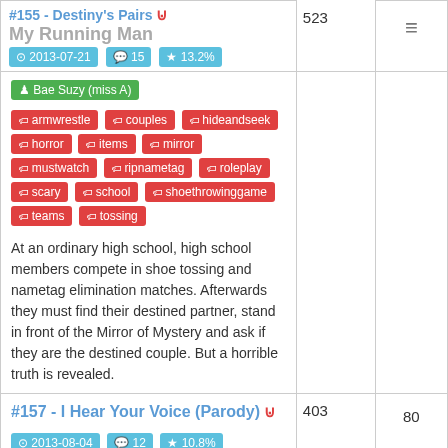#155 - Destiny's Pairs | My Running Man | 523 | 247 | 2013-07-21 | 15 comments | 13.2%
Guest: Bae Suzy (miss A)
Tags: armwrestle, couples, hideandseek, horror, items, mirror, mustwatch, ripnametag, roleplay, scary, school, shoethrowinggame, teams, tossing
At an ordinary high school, high school members compete in shoe tossing and nametag elimination matches. Afterwards they must find their destined partner, stand in front of the Mirror of Mystery and ask if they are the destined couple. But a horrible truth is revealed.
#157 - I Hear Your Voice (Parody) | 403 | 80 | 2013-08-04 | 12 comments | 10.8%
Guests: Ahn Gil-kang, Jung Woong-in, Kim Hee-won